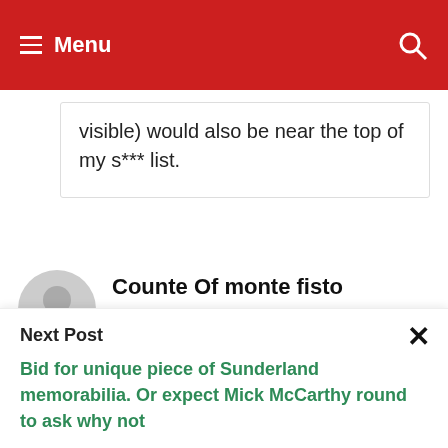Menu
visible) would also be near the top of my s*** list.
Counte Of monte fisto
July 18, 2012 at 4:48 pm
Leeds fan in relative peace, Our
Next Post
Bid for unique piece of Sunderland memorabilia. Or expect Mick McCarthy round to ask why not